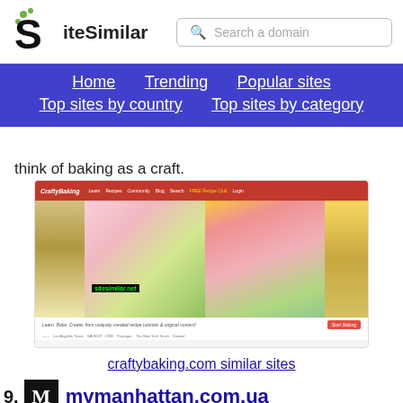SiteSimilar — Search a domain — Home Trending Popular sites Top sites by country Top sites by category
think of baking as a craft.
[Figure (screenshot): Screenshot of craftybaking.com website showing header with red navigation bar, images of decorative baked goods (macarons, tulip cake pops), and bottom bar with 'Start Baking' button and press logos. Watermark reads sitesimilar.net]
craftybaking.com similar sites
89. mymanhattan.com.ua